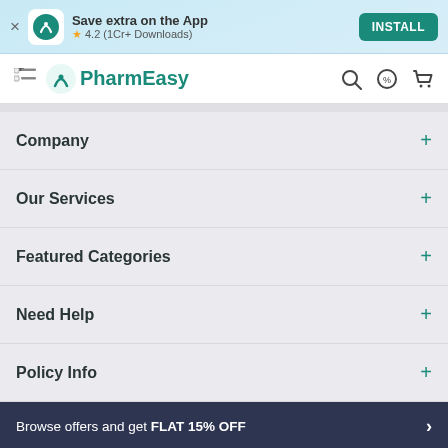Save extra on the App ★ 4.2 (1Cr+ Downloads) INSTALL
PharmEasy
Company +
Our Services +
Featured Categories +
Need Help +
Policy Info +
Browse offers and get FLAT 15% OFF
Moxmentin 375mg Tablets ₹158.95 15% OFF Add To Cart